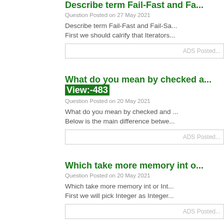Describe term Fail-Fast and Fa...
Question Posted on 27 May 2021
Describe term Fail-Fast and Fail-Sa... First we should calrify that Iterators...
ADS Posted...
What do you mean by checked ... View:-483
Question Posted on 20 May 2021
What do you mean by checked and ... Below is the main difference betwe...
ADS Posted...
Which take more memory int o...
Question Posted on 20 May 2021
Which take more memory int or Int... First we will pick Integer as Integer...
ADS Posted...